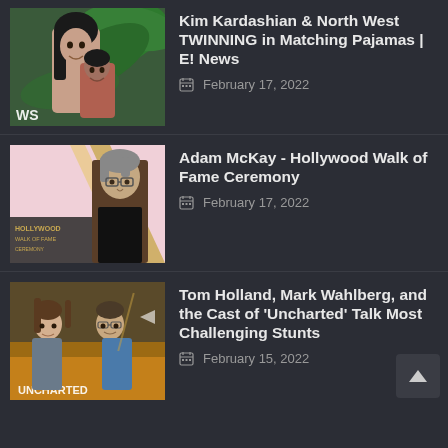[Figure (photo): Thumbnail of Kim Kardashian and North West smiling with tropical plant background, WS watermark]
Kim Kardashian & North West TWINNING in Matching Pajamas | E! News
February 17, 2022
[Figure (photo): Thumbnail of Adam McKay at Hollywood Walk of Fame Ceremony, man with glasses in brown jacket]
Adam McKay - Hollywood Walk of Fame Ceremony
February 17, 2022
[Figure (photo): Thumbnail of Tom Holland, Mark Wahlberg and cast of Uncharted, with movie title visible at bottom]
Tom Holland, Mark Wahlberg, and the Cast of 'Uncharted' Talk Most Challenging Stunts
February 15, 2022